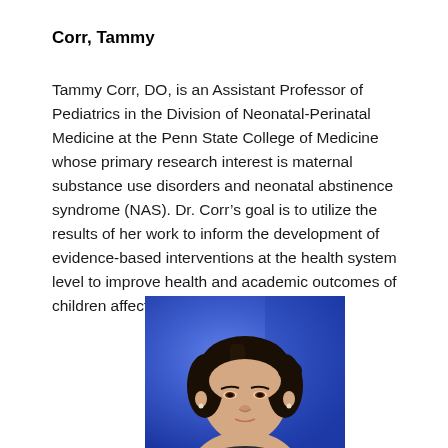Corr, Tammy
Tammy Corr, DO, is an Assistant Professor of Pediatrics in the Division of Neonatal-Perinatal Medicine at the Penn State College of Medicine whose primary research interest is maternal substance use disorders and neonatal abstinence syndrome (NAS). Dr. Corr's goal is to utilize the results of her work to inform the development of evidence-based interventions at the health system level to improve health and academic outcomes of children affected by NAS.
[Figure (photo): Professional headshot of Tammy Corr against a blue background, showing a woman with dark hair pulled back.]